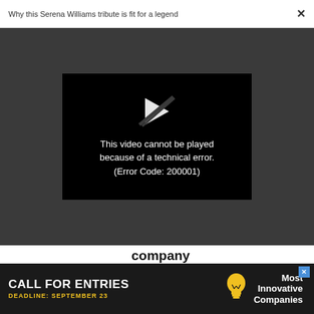Why this Serena Williams tribute is fit for a legend  ×
[Figure (screenshot): Video player showing error message on dark background. Black video frame with broken play icon and text: 'This video cannot be played because of a technical error. (Error Code: 200001)']
company
Advertise | Privacy Policy | Terms | Notice of Collection | Do Not Sell My Data | Permissions | Help Center | About Us | Site Map |
[Figure (infographic): Advertisement banner: CALL FOR ENTRIES DEADLINE: SEPTEMBER 23 with lightbulb icon and 'Most Innovative Companies']